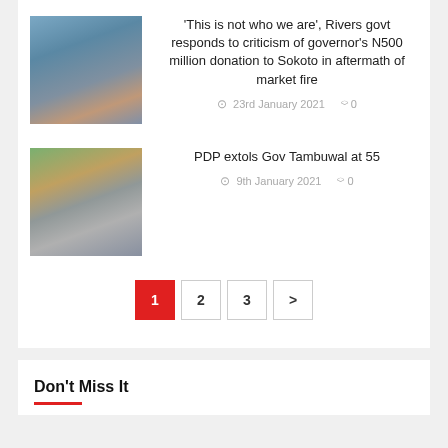[Figure (photo): Group of men wearing face masks outdoors]
'This is not who we are', Rivers govt responds to criticism of governor's N500 million donation to Sokoto in aftermath of market fire
23rd January 2021  0
[Figure (photo): Man in white traditional attire wearing a face mask]
PDP extols Gov Tambuwal at 55
9th January 2021  0
Pagination: 1 2 3 >
Don't Miss It